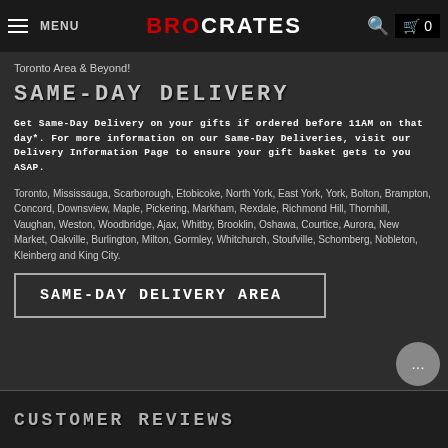MENU | BROCRATES | 🔍 | 🛒 0
Toronto Area & Beyond!
SAME-DAY DELIVERY
Get Same-Day Delivery on your gifts if ordered before 11AM on that day*. For more information on our Same-Day Deliveries, visit our Delivery Information Page to ensure your gift basket gets to you ASAP.
Toronto, Mississauga, Scarborough, Etobicoke, North York, East York, York, Bolton, Brampton, Concord, Downsview, Maple, Pickering, Markham, Rexdale, Richmond Hill, Thornhill, Vaughan, Weston, Woodbridge, Ajax, Whitby, Brooklin, Oshawa, Courtice, Aurora, New Market, Oakville, Burlington, Milton, Gormley, Whitchurch, Stoufville, Schomberg, Nobleton, Kleinberg and King City.
SAME-DAY DELIVERY AREA
CUSTOMER REVIEWS